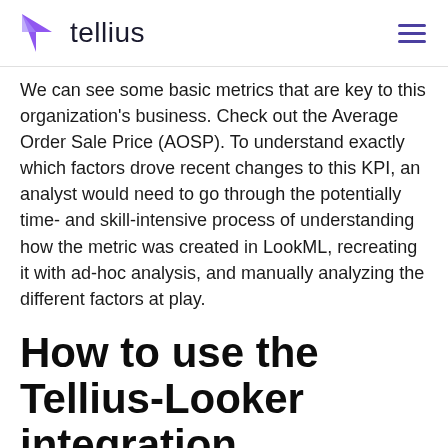tellius
We can see some basic metrics that are key to this organization's business. Check out the Average Order Sale Price (AOSP). To understand exactly which factors drove recent changes to this KPI, an analyst would need to go through the potentially time- and skill-intensive process of understanding how the metric was created in LookML, recreating it with ad-hoc analysis, and manually analyzing the different factors at play.
How to use the Tellius-Looker integration